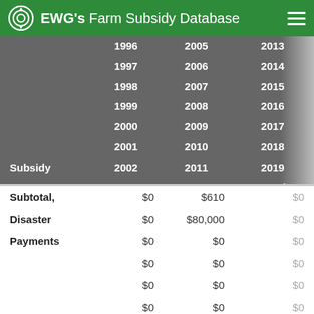EWG's Farm Subsidy Database
| Subsidy Program | 1996–2003 | 2005–2012 | 2013–2020‡ |
| --- | --- | --- | --- |
|  | 1996 | 2005 | 2013 |
|  | 1997 | 2006 | 2014 |
|  | 1998 | 2007 | 2015 |
|  | 1999 | 2008 | 2016 |
|  | 2000 | 2009 | 2017 |
|  | 2001 | 2010 | 2018 |
| Subsidy | 2002 | 2011 | 2019 |
| Program | 2003 | 2012 | 2020‡ |
|  | Col1 | Col2 | Col3 |
| --- | --- | --- | --- |
| Subtotal, | $0 | $610 | $0 |
| Disaster | $0 | $80,000 | $0 |
| Payments | $0 | $0 | $0 |
|  | $0 | $0 | $0 |
|  | $0 | $0 | $0 |
|  | $0 | $0 | $0 |
|  | $0 | $0 | $0 |
|  | $0 | $0 | $0‡ |